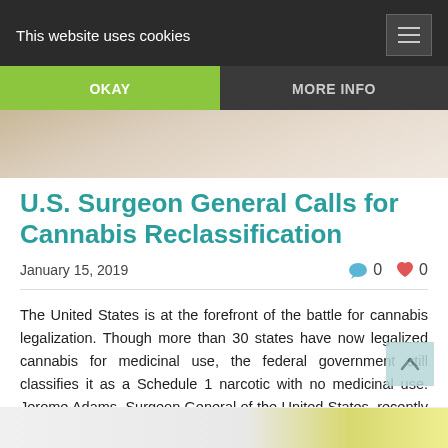This website uses cookies
OKAY
MORE INFO
[Figure (photo): Close-up photo of hands, likely related to cannabis/medical topic, visible as a strip below the cookie banner]
U.S. Surgeon General Calls for Cannabis Reclassification
January 15, 2019   0   0
The United States is at the forefront of the battle for cannabis legalization. Though more than 30 states have now legalized cannabis for medicinal use, the federal government still classifies it as a Schedule 1 narcotic with no medicinal use. Jerome Adams, Surgeon General of the United States, recently called …
Read More
[Figure (photo): Partial image at the bottom of the page, appears to show a cannabis/medical related item with a yellow/green element]